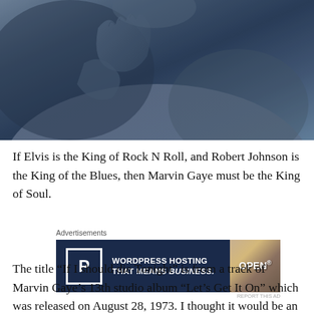[Figure (photo): Black and white / blue-tinted photograph of a person's hands and torso, moody and artistic]
If Elvis is the King of Rock N Roll, and Robert Johnson is the King of the Blues, then Marvin Gaye must be the King of Soul.
[Figure (infographic): WordPress hosting advertisement banner: 'WORDPRESS HOSTING THAT MEANS BUSINESS.' with a P logo and OPEN sign image]
The title “If I should die Tonight” is from a track of Marvin Gaye’s 13th studio album “Let’s Get It On” which was released on August 28, 1973. I thought it would be an